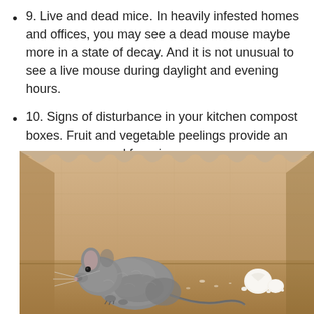9. Live and dead mice. In heavily infested homes and offices, you may see a dead mouse maybe more in a state of decay. And it is not unusual to see a live mouse during daylight and evening hours.
10. Signs of disturbance in your kitchen compost boxes. Fruit and vegetable peelings provide an easy access meal for mice.
[Figure (photo): A grey mouse sitting inside a cardboard box with some white food scraps beside it.]